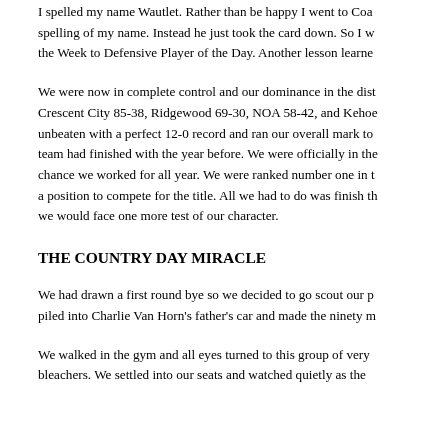I spelled my name Wautlet. Rather than be happy I went to Coa spelling of my name. Instead he just took the card down. So I w the Week to Defensive Player of the Day. Another lesson learne
We were now in complete control and our dominance in the dis Crescent City 85-38, Ridgewood 69-30, NOA 58-42, and Kehoe unbeaten with a perfect 12-0 record and ran our overall mark to team had finished with the year before. We were officially in the chance we worked for all year. We were ranked number one in t a position to compete for the title. All we had to do was finish th we would face one more test of our character.
THE COUNTRY DAY MIRACLE
We had drawn a first round bye so we decided to go scout our p piled into Charlie Van Horn's father's car and made the ninety m
We walked in the gym and all eyes turned to this group of very bleachers. We settled into our seats and watched quietly as the